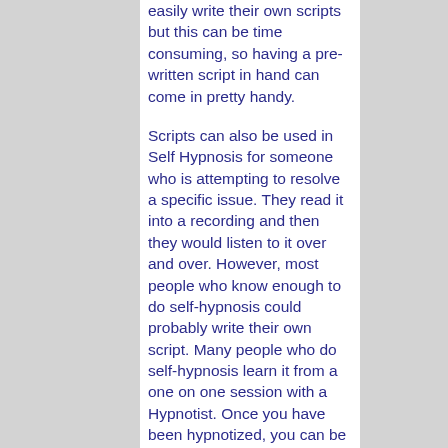easily write their own scripts but this can be time consuming, so having a pre-written script in hand can come in pretty handy. Scripts can also be used in Self Hypnosis for someone who is attempting to resolve a specific issue. They read it into a recording and then they would listen to it over and over. However, most people who know enough to do self-hypnosis could probably write their own script. Many people who do self-hypnosis learn it from a one on one session with a Hypnotist. Once you have been hypnotized, you can be programmed to allow yourself to go into the trace state anytime you